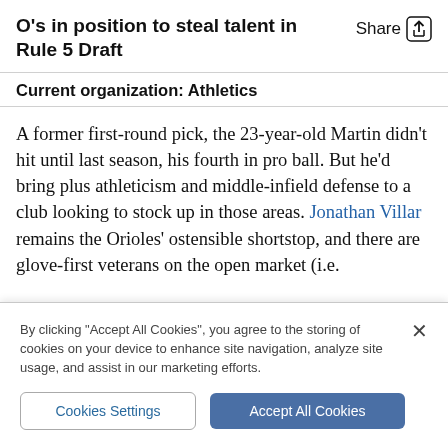O's in position to steal talent in Rule 5 Draft
Current organization: Athletics
A former first-round pick, the 23-year-old Martin didn't hit until last season, his fourth in pro ball. But he'd bring plus athleticism and middle-infield defense to a club looking to stock up in those areas. Jonathan Villar remains the Orioles' ostensible shortstop, and there are glove-first veterans on the open market (i.e.
By clicking “Accept All Cookies”, you agree to the storing of cookies on your device to enhance site navigation, analyze site usage, and assist in our marketing efforts.